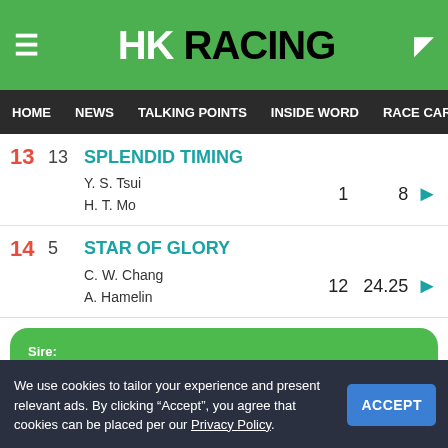HK RACING
HOME  NEWS  TALKING POINTS  INSIDE WORD  RACE CARD  RACE RESU
| # | Draw | Horse |  | Wins | Odds |  |
| --- | --- | --- | --- | --- | --- | --- |
| 13 | 13 | SPLENDID TIMING | Y. S. Tsui / H. T. Mo | 1 | 8 | ▶ |
| 14 | 5 | STAR OF GLORY | C. W. Chang / A. Hamelin | 12 | 24.25 | ▶ |
Sire: NOT A SINGLE DOUBT
We use cookies to tailor your experience and present relevant ads. By clicking "Accept", you agree that cookies can be placed per our Privacy Policy.